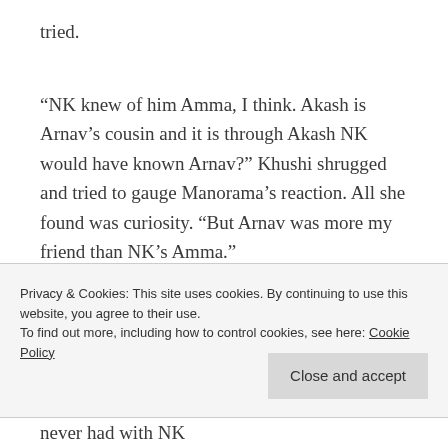tried.
“NK knew of him Amma, I think. Akash is Arnav’s cousin and it is through Akash NK would have known Arnav?” Khushi shrugged and tried to gauge Manorama’s reaction. All she found was curiosity. “But Arnav was more my friend than NK’s Amma.”
Privacy & Cookies: This site uses cookies. By continuing to use this website, you agree to their use.
To find out more, including how to control cookies, see here: Cookie Policy
never had with NK